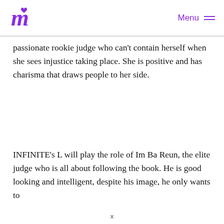Menu
passionate rookie judge who can't contain herself when she sees injustice taking place. She is positive and has charisma that draws people to her side.
INFINITE's L will play the role of Im Ba Reun, the elite judge who is all about following the book. He is good looking and intelligent, despite his image, he only wants to
x